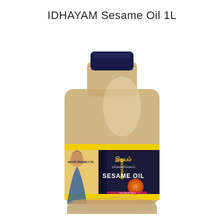IDHAYAM Sesame Oil 1L
[Figure (photo): Product photo of IDHAYAM Sesame Oil 1L bottle. A large translucent golden-colored sesame oil bottle with a dark navy blue cap. The bottle has a dark navy label with yellow trim bands. The label features Tamil script branding, the text 'SESAME OIL', a woman in a blue sari on the left side, and an image of sesame seeds/plant. The brand name 'IDHAYAM' is printed vertically on the side. The bottle appears to be approximately 1 liter in size.]